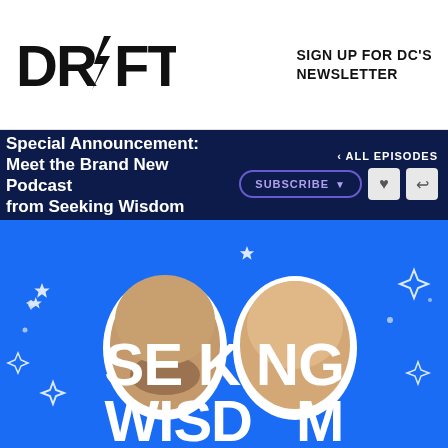[Figure (logo): DRIFT logo in bold black text with lightning bolt replacing the I]
SIGN UP FOR DC'S NEWSLETTER
Special Announcement: Meet the Brand New Podcast from Seeking Wisdom
< ALL EPISODES
SUBSCRIBE
[Figure (photo): Seeking Wisdom podcast promotional image on blue background showing two hosts' faces (one bald with beard, one with short hair smiling) with white star decorations and large white text reading SEEKING WISDOM at the bottom]